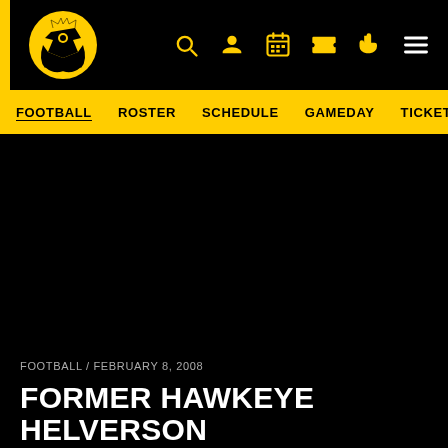[Figure (logo): University of Iowa Tigerhawk logo in gold on black background]
FOOTBALL  ROSTER  SCHEDULE  GAMEDAY  TICKETS  C|
[Figure (photo): Large dark/black hero image area]
FOOTBALL / FEBRUARY 8, 2008
FORMER HAWKEYE HELVERSON OFFICIATES SUPER BOWL XLII